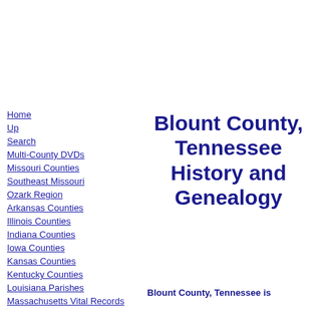Home
Up
Search
Multi-County DVDs
Missouri Counties
Southeast Missouri
Ozark Region
Arkansas Counties
Illinois Counties
Indiana Counties
Iowa Counties
Kansas Counties
Kentucky Counties
Louisiana Parishes
Massachusetts Vital Records
North Carolina Counties
Ohio Counties
Blount County, Tennessee History and Genealogy
Blount County, Tennessee is